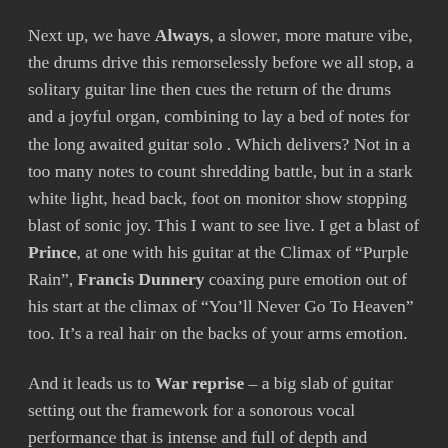Next up, we have Always, a slower, more mature vibe, the drums drive this remorselessly before we all stop, a solitary guitar line then cues the return of the drums and a joyful organ, combining to lay a bed of notes for the long awaited guitar solo . Which delivers? Not in a too many notes to count shredding battle, but in a stark white light, head back, foot on monitor show stopping blast of sonic joy. This I want to see live. I get a blast of Prince, at one with his guitar at the Climax of “Purple Rain”, Francis Dunnery coaxing pure emotion out of his start at the climax of “You’ll Never Go To Heaven” too. It’s a real hair on the backs of your arms emotion.
And it leads us to War reprise – a big slab of guitar setting out the framework for a sonorous vocal performance that is intense and full of depth and